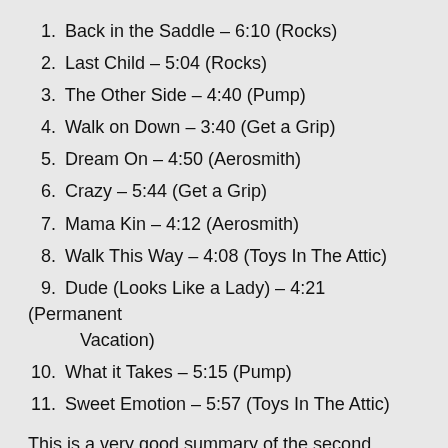1. Back in the Saddle – 6:10 (Rocks)
2. Last Child – 5:04 (Rocks)
3. The Other Side – 4:40 (Pump)
4. Walk on Down – 3:40 (Get a Grip)
5. Dream On – 4:50 (Aerosmith)
6. Crazy – 5:44 (Get a Grip)
7. Mama Kin – 4:12 (Aerosmith)
8. Walk This Way – 4:08 (Toys In The Attic)
9. Dude (Looks Like a Lady) – 4:21 (Permanent Vacation)
10. What it Takes – 5:15 (Pump)
11. Sweet Emotion – 5:57 (Toys In The Attic)
This is a very good summary of the second coming of Aerosmith in the late eighties and early nineties with Permanent Vacation, Pump and Get A Grip combined...